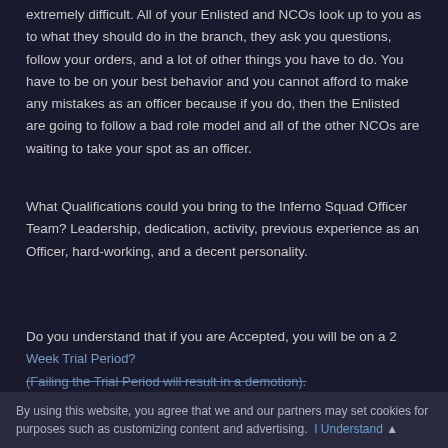extremely difficult. All of your Enlisted and NCOs look up to you as to what they should do in the branch, they ask you questions, follow your orders, and a lot of other things you have to do. You have to be on your best behavior and you cannot afford to make any mistakes as an officer because if you do, then the Enlisted are going to follow a bad role model and all of the other NCOs are waiting to take your spot as an officer.
What Qualifications could you bring to the Inferno Squad Officer Team? Leadership, dedication, activity, previous experience as an Officer, hard-working, and a decent personality.
Do you understand that if you are Accepted, you will be on a 2 Week Trial Period? (Failing the Trial Period will result in a demotion). Yes
By using this website, you agree that we and our partners may set cookies for purposes such as customizing content and advertising. I Understand